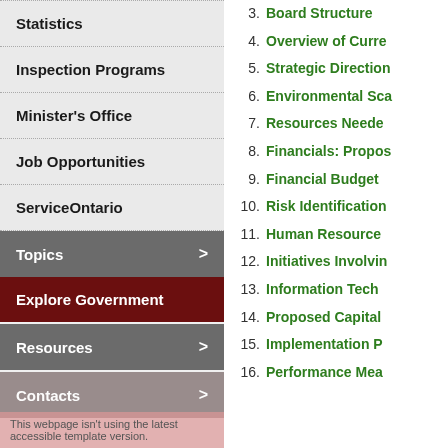Statistics
Inspection Programs
Minister's Office
Job Opportunities
ServiceOntario
Topics
Explore Government
Resources
Contacts
This webpage isn't using the latest accessible template version.
3. Board Structure
4. Overview of Curre
5. Strategic Direction
6. Environmental Sca
7. Resources Neede
8. Financials: Propo
9. Financial Budget
10. Risk Identification
11. Human Resource
12. Initiatives Involvin
13. Information Tech
14. Proposed Capital
15. Implementation P
16. Performance Mea